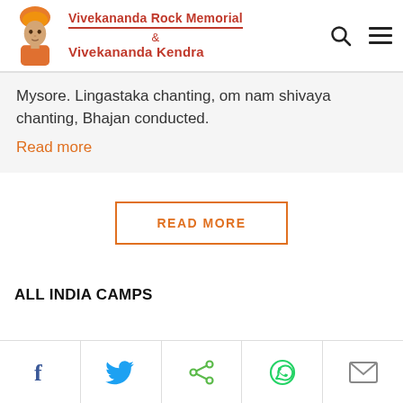[Figure (logo): Vivekananda Rock Memorial & Vivekananda Kendra logo with Swami Vivekananda portrait and red text]
Mysore. Lingastaka chanting, om nam shivaya chanting, Bhajan conducted.
Read more
READ MORE
ALL INDIA CAMPS
[Figure (infographic): Social sharing bar with Facebook, Twitter, Share, WhatsApp, and Email icons]